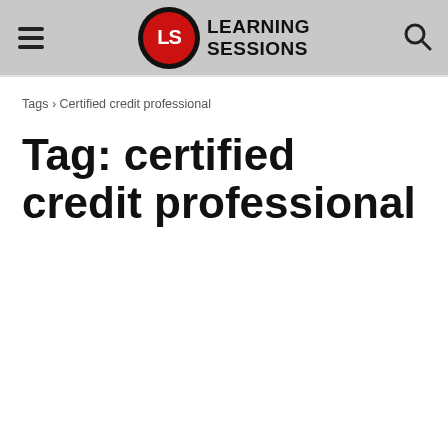[Figure (logo): Learning Sessions logo with LS in a red and black circle, followed by bold text LEARNING SESSIONS]
Tags › Certified credit professional
Tag: certified credit professional